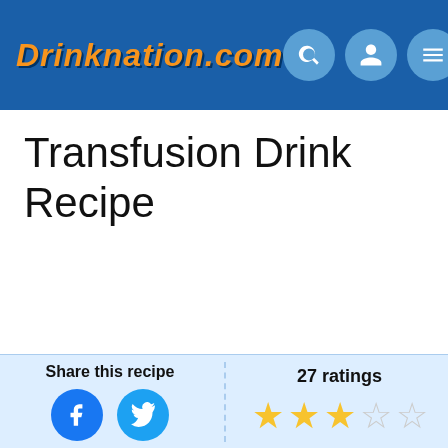DRINKNATION.COM
Transfusion Drink Recipe
Share this recipe
27 ratings